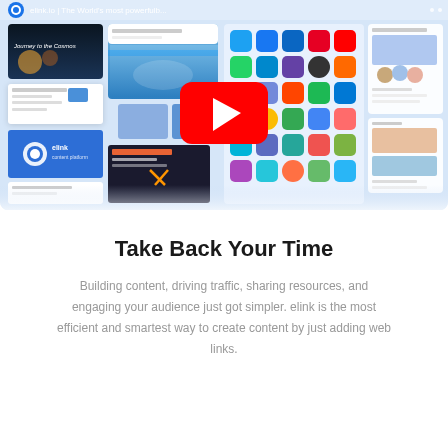[Figure (screenshot): A YouTube video thumbnail/embed showing a collage of various web app screenshots and UI elements, with a large red YouTube play button in the center. The top has a browser bar with 'elink.io | The World's most powerfulb...' text. The collage includes website builders, app icons, newsletter templates, and space-themed web pages.]
Take Back Your Time
Building content, driving traffic, sharing resources, and engaging your audience just got simpler. elink is the most efficient and smartest way to create content by just adding web links.